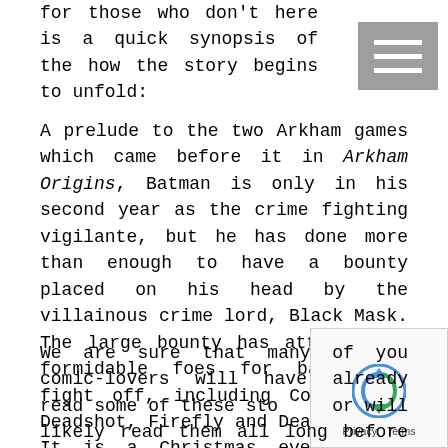for those who don't here is a quick synopsis of the how the story begins to unfold:
A prelude to the two Arkham games which came before it in Arkham Origins, Batman is only in his second year as the crime fighting vigilante, but he has done more than enough to have a bounty placed on his head by the villainous crime lord, Black Mask. The large bounty has attracted 8 formidable foes for batman to fight off, including Copperhead, Deadshot, Firefly and Deathstroke. It is a Christmas eve neither Batman nor players of the game will forget.
We are sure that many of you comic-lovers will have already read some of these stories or will likely read them all long before Christmas which is fine because there are